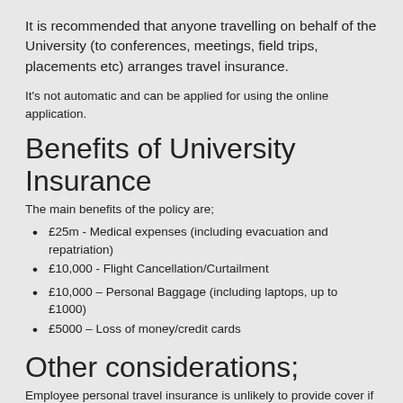It is recommended that anyone travelling on behalf of the University (to conferences, meetings, field trips, placements etc) arranges travel insurance.
It's not automatic and can be applied for using the online application.
Benefits of University Insurance
The main benefits of the policy are;
£25m - Medical expenses (including evacuation and repatriation)
£10,000 - Flight Cancellation/Curtailment
£10,000 – Personal Baggage (including laptops, up to £1000)
£5000 – Loss of money/credit cards
Other considerations;
Employee personal travel insurance is unlikely to provide cover if